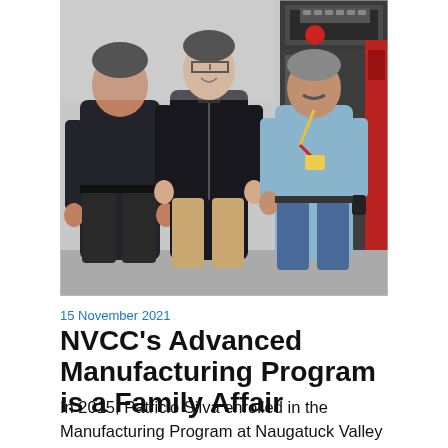[Figure (photo): Three men standing together posing for a photo in what appears to be a manufacturing facility or machine shop. Industrial equipment is visible in the background. Left man wears a dark polo shirt, center man wears a black jacket with Adidas logo, right man wears a light blue shirt with a lanyard/badge.]
15 November 2021
NVCC's Advanced Manufacturing Program is a Family Affair
In 2015, Patricio Silva enrolled in the Manufacturing Program at Naugatuck Valley Community College. His plan was to